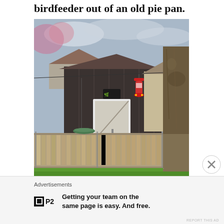birdfeeder out of an old pie pan.
[Figure (photo): Outdoor photograph showing a suburban backyard scene with a dark wood-sided garage building, a wooden picket fence with chain-link fence in front, a large tree trunk on the right, green grass in the foreground, and a red hummingbird feeder hanging from a wire. A circular dark bird bath is visible hanging on the left side.]
Advertisements
Getting your team on the same page is easy. And free.